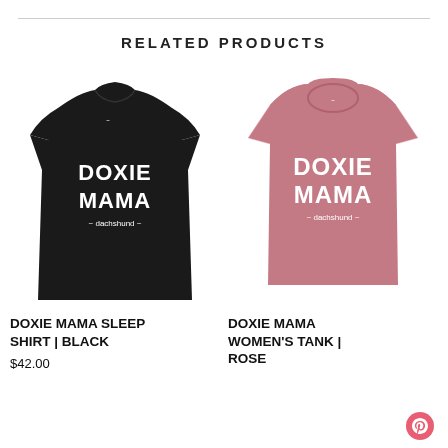RELATED PRODUCTS
[Figure (photo): Black t-shirt dress with 'DOXIE MAMA' printed in white letters on front]
DOXIE MAMA SLEEP SHIRT | BLACK
$42.00
[Figure (photo): Pink sleeveless muscle tank top with 'DOXIE MAMA' printed in white letters on front]
DOXIE MAMA WOMEN'S TANK | ROSE